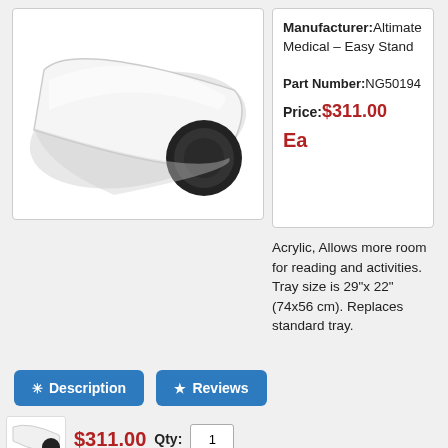[Figure (photo): Product photo: white acrylic tray with black rounded end piece on a massage/stand system, viewed at angle]
Manufacturer:Altimate Medical – Easy Stand
Part Number:NG50194
Price:$311.00
Ea
Acrylic, Allows more room for reading and activities. Tray size is 29"x 22" (74x56 cm). Replaces standard tray.
✳ Description
★ Reviews
$311.00  Qty: 1
[Figure (photo): Small thumbnail of product]
Add to Cart